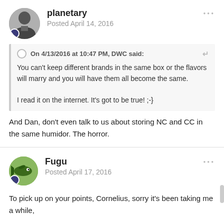planetary
Posted April 14, 2016
On 4/13/2016 at 10:47 PM, DWC said:
You can't keep different brands in the same box or the flavors will marry and you will have them all become the same.

I read it on the internet. It's got to be true! ;-}
And Dan, don't even talk to us about storing NC and CC in the same humidor. The horror.
Fugu
Posted April 17, 2016
To pick up on your points, Cornelius, sorry it's been taking me a while,